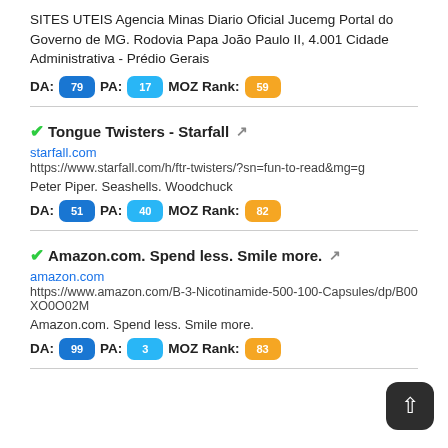SITES UTEIS Agencia Minas Diario Oficial Jucemg Portal do Governo de MG. Rodovia Papa João Paulo II, 4.001 Cidade Administrativa - Prédio Gerais
DA: 79  PA: 17  MOZ Rank: 59
✓Tongue Twisters - Starfall
starfall.com
https://www.starfall.com/h/ftr-twisters/?sn=fun-to-read&mg=g
Peter Piper. Seashells. Woodchuck
DA: 51  PA: 40  MOZ Rank: 82
✓Amazon.com. Spend less. Smile more.
amazon.com
https://www.amazon.com/B-3-Nicotinamide-500-100-Capsules/dp/B00XO0O02M
Amazon.com. Spend less. Smile more.
DA: 99  PA: 3  MOZ Rank: 83